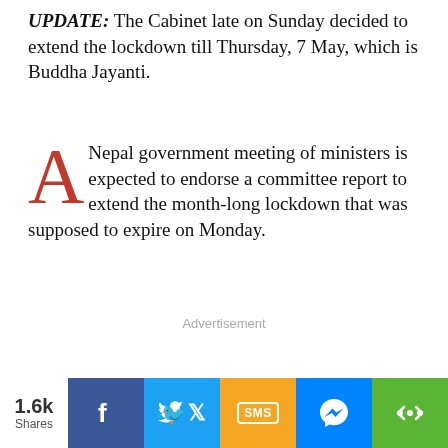UPDATE: The Cabinet late on Sunday decided to extend the lockdown till Thursday, 7 May, which is Buddha Jayanti.
A Nepal government meeting of ministers is expected to endorse a committee report to extend the month-long lockdown that was supposed to expire on Monday.
Advertisement
1.6k Shares